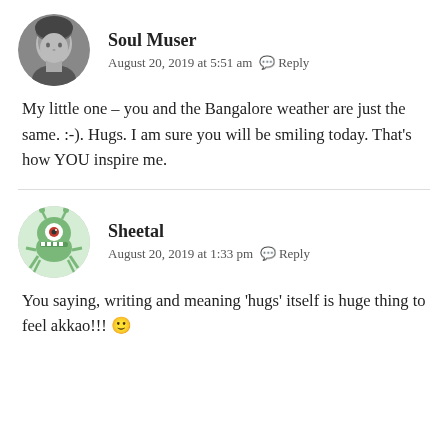[Figure (photo): Black and white circular avatar photo of Soul Muser]
Soul Muser
August 20, 2019 at 5:51 am  Reply
My little one – you and the Bangalore weather are just the same. :-). Hugs. I am sure you will be smiling today. That's how YOU inspire me.
[Figure (illustration): Green monster cartoon circular avatar of Sheetal]
Sheetal
August 20, 2019 at 1:33 pm  Reply
You saying, writing and meaning 'hugs' itself is huge thing to feel akkao!!! 🙂